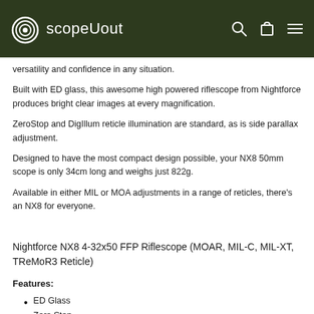scopeUout
versatility and confidence in any situation.
Built with ED glass, this awesome high powered riflescope from Nightforce produces bright clear images at every magnification.
ZeroStop and DigIllum reticle illumination are standard, as is side parallax adjustment.
Designed to have the most compact design possible, your NX8 50mm scope is only 34cm long and weighs just 822g.
Available in either MIL or MOA adjustments in a range of reticles, there's an NX8 for everyone.
Nightforce NX8 4-32x50 FFP Riflescope (MOAR, MIL-C, MIL-XT, TReMoR3 Reticle)
Features:
ED Glass
Zero Stop